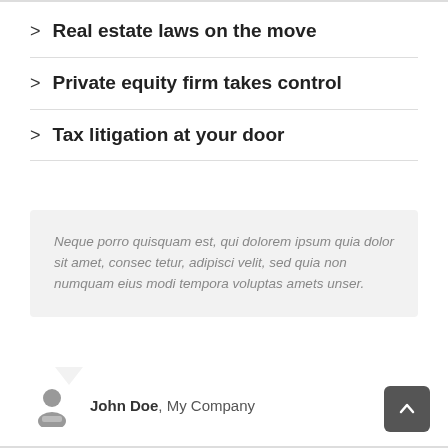> Real estate laws on the move
> Private equity firm takes control
> Tax litigation at your door
Neque porro quisquam est, qui dolorem ipsum quia dolor sit amet, consec tetur, adipisci velit, sed quia non numquam eius modi tempora voluptas amets unser.
John Doe, My Company